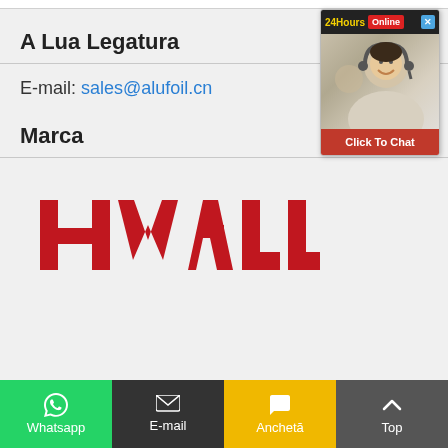A Lua Legatura
E-mail: sales@alufoil.cn
Marca
[Figure (logo): HWALU brand logo in red bold letters]
[Figure (photo): 24Hours Online chat widget with a customer service representative wearing a headset, and a Click To Chat button]
Whatsapp  E-mail  Anchetă  Top